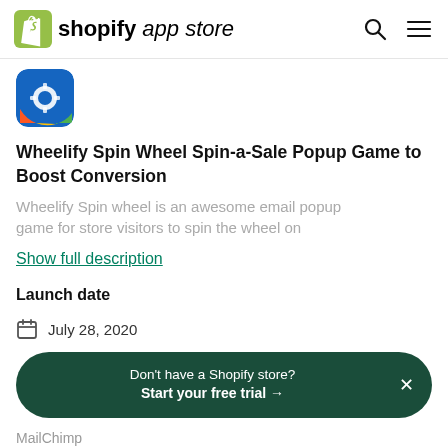shopify app store
[Figure (screenshot): Wheelify app icon - blue background with gear/wheel symbol and colorful accents]
Wheelify Spin Wheel Spin-a-Sale Popup Game to Boost Conversion
Wheelify Spin wheel is an awesome email popup game for store visitors to spin the wheel on
Show full description
Launch date
July 28, 2020
Don't have a Shopify store? Start your free trial →
MailChimp